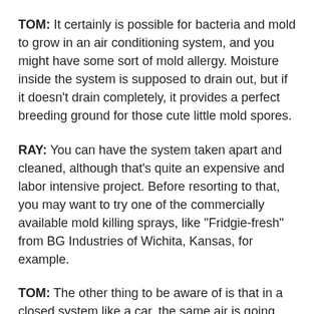TOM: It certainly is possible for bacteria and mold to grow in an air conditioning system, and you might have some sort of mold allergy. Moisture inside the system is supposed to drain out, but if it doesn't drain completely, it provides a perfect breeding ground for those cute little mold spores.
RAY: You can have the system taken apart and cleaned, although that's quite an expensive and labor intensive project. Before resorting to that, you may want to try one of the commercially available mold killing sprays, like "Fridgie-fresh" from BG Industries of Wichita, Kansas, for example.
TOM: The other thing to be aware of is that in a closed system like a car, the same air is going around and around continuously, with only a small amount of fresh air being added. So if someone else in the car has a